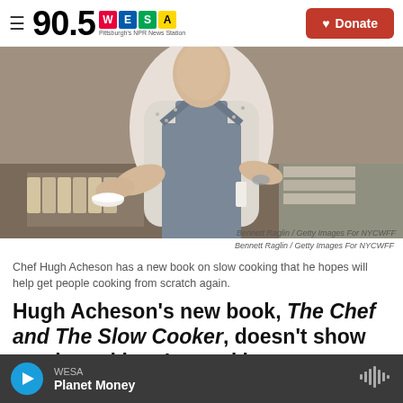90.5 WESA Pittsburgh's NPR News Station | Donate
[Figure (photo): Chef Hugh Acheson wearing a floral short-sleeve shirt and gray apron, holding a white bowl, standing in a kitchen with egg cartons visible in the background.]
Bennett Raglin / Getty Images For NYCWFF
Chef Hugh Acheson has a new book on slow cooking that he hopes will help get people cooking from scratch again.
Hugh Acheson's new book, The Chef and The Slow Cooker, doesn't show much cooking. Instead it
WESA | Planet Money